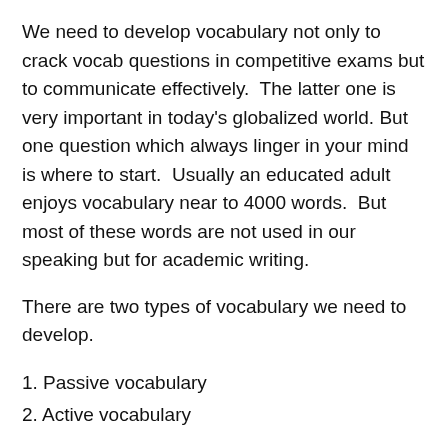We need to develop vocabulary not only to crack vocab questions in competitive exams but to communicate effectively.  The latter one is very important in today's globalized world. But one question which always linger in your mind is where to start.  Usually an educated adult enjoys vocabulary near to 4000 words.  But most of these words are not used in our speaking but for academic writing.
There are two types of vocabulary we need to develop.
1. Passive vocabulary
2. Active vocabulary
1. Passive vocabulary: Passive vocabulary is a set of words which we can easily recall the meaning of the word.  For